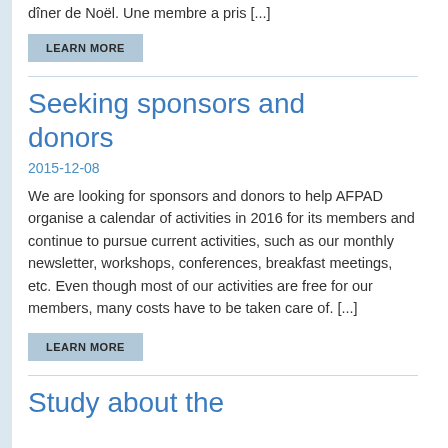diner de Noel. One membre a pris [...]
LEARN MORE
Seeking sponsors and donors
2015-12-08
We are looking for sponsors and donors to help AFPAD organise a calendar of activities in 2016 for its members and continue to pursue current activities, such as our monthly newsletter, workshops, conferences, breakfast meetings, etc. Even though most of our activities are free for our members, many costs have to be taken care of. [...]
LEARN MORE
Study about the